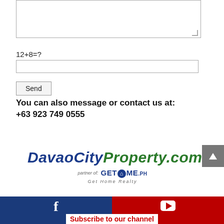[Figure (screenshot): Textarea input box for message]
12+8=?
[Figure (screenshot): Text input box for captcha answer]
[Figure (screenshot): Send button]
You can also message or contact us at: +63 923 749 0555
[Figure (logo): DavaoCityProperty.com logo with partner of GETHOME.PH Get Home Realty]
[Figure (screenshot): Scroll to top button (grey with up arrow)]
Subscribe to our channel